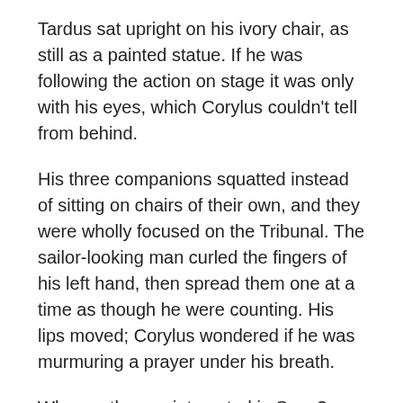Tardus sat upright on his ivory chair, as still as a painted statue. If he was following the action on stage it was only with his eyes, which Corylus couldn't tell from behind.
His three companions squatted instead of sitting on chairs of their own, and they were wholly focused on the Tribunal. The sailor-looking man curled the fingers of his left hand, then spread them one at a time as though he were counting. His lips moved; Corylus wondered if he was murmuring a prayer under his breath.
Why are they so interested in Saxa? Assuming that it's Saxa and not his wife or children that they're staring at.
While Zephyrs in flowing silks and mountain